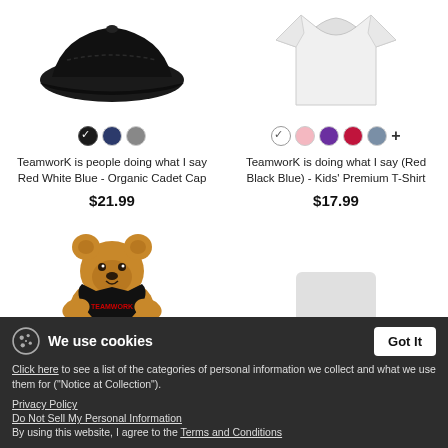[Figure (photo): Black organic cadet cap product image]
[Figure (photo): White kids premium t-shirt product image]
TeamworK is people doing what I say Red White Blue - Organic Cadet Cap
$21.99
TeamworK is doing what I say (Red Black Blue) - Kids' Premium T-Shirt
$17.99
[Figure (photo): Teddy bear wearing a Teamwork t-shirt product image]
We use cookies
Click here to see a list of the categories of personal information we collect and what we use them for ("Notice at Collection").
Privacy Policy
Do Not Sell My Personal Information
By using this website, I agree to the Terms and Conditions